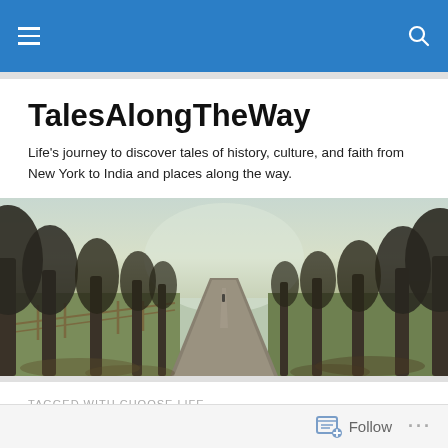TalesAlongTheWay — navigation header with hamburger menu and search icon
TalesAlongTheWay
Life's journey to discover tales of history, culture, and faith from New York to India and places along the way.
[Figure (photo): A tree-lined country road or path extending into the distance, with bare winter trees on both sides, a wooden fence on the left, grass on either side, and a lone figure walking in the distance under a misty sky.]
TAGGED WITH CHOOSE LIFE
Horrendous Heroin
Follow   ...